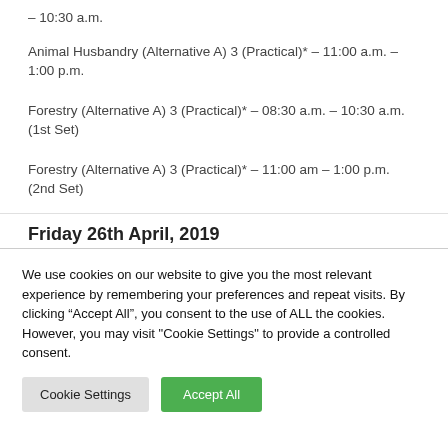– 10:30 a.m.
Animal Husbandry (Alternative A) 3 (Practical)* – 11:00 a.m. – 1:00 p.m.
Forestry (Alternative A) 3 (Practical)* – 08:30 a.m. – 10:30 a.m. (1st Set)
Forestry (Alternative A) 3 (Practical)* – 11:00 am – 1:00 p.m. (2nd Set)
Friday 26th April, 2019
We use cookies on our website to give you the most relevant experience by remembering your preferences and repeat visits. By clicking “Accept All”, you consent to the use of ALL the cookies. However, you may visit "Cookie Settings" to provide a controlled consent.